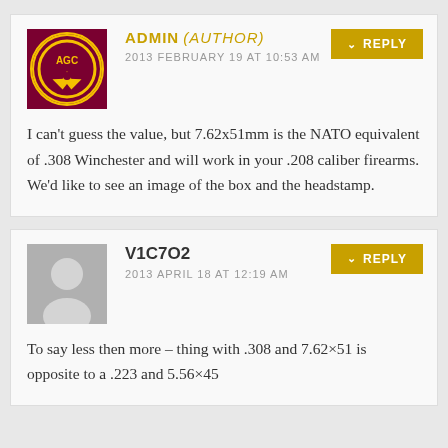ADMIN (AUTHOR)
2013 FEBRUARY 19 AT 10:53 AM
I can't guess the value, but 7.62x51mm is the NATO equivalent of .308 Winchester and will work in your .208 caliber firearms. We'd like to see an image of the box and the headstamp.
V1C7O2
2013 APRIL 18 AT 12:19 AM
To say less then more – thing with .308 and 7.62×51 is opposite to a .223 and 5.56×45